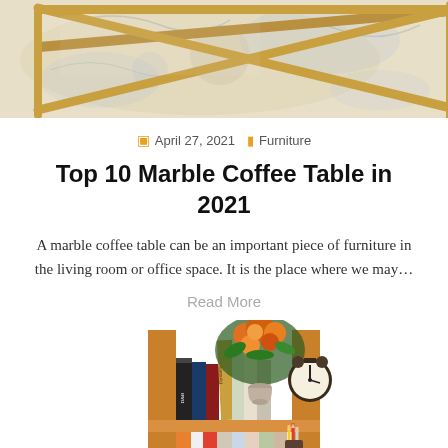[Figure (photo): Top-down partial view of a gold-framed glass coffee table on a blue patterned rug]
April 27, 2021   Furniture
Top 10 Marble Coffee Table in 2021
A marble coffee table can be an important piece of furniture in the living room or office space. It is the place where we may…
Read More
[Figure (photo): Wooden bookshelf with books, a flower arrangement, and a small alarm clock on the top shelf]